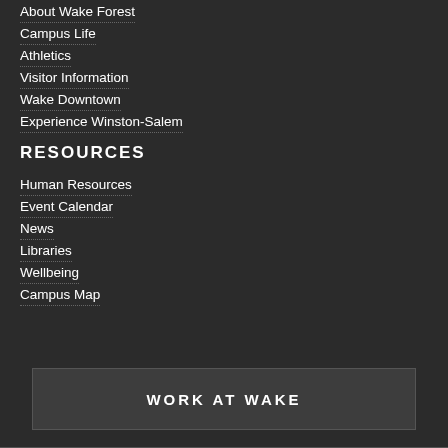About Wake Forest
Campus Life
Athletics
Visitor Information
Wake Downtown
Experience Winston-Salem
RESOURCES
Human Resources
Event Calendar
News
Libraries
Wellbeing
Campus Map
WORK AT WAKE